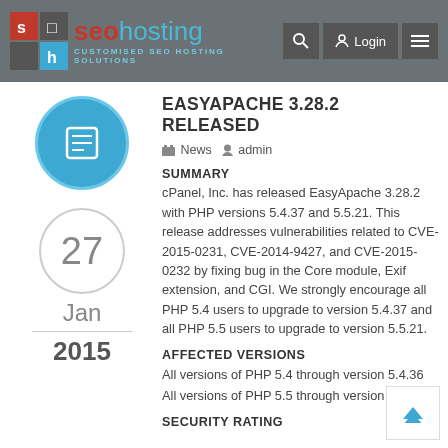seohosting — CUSTOMISED SEO HOSTING SOLUTIONS
[Figure (logo): SEOHosting logo with red/blue icon and navigation buttons for search, login, and menu]
EASYAPACHE 3.28.2 RELEASED
News  admin
SUMMARY
cPanel, Inc. has released EasyApache 3.28.2 with PHP versions 5.4.37 and 5.5.21. This release addresses vulnerabilities related to CVE-2015-0231, CVE-2014-9427, and CVE-2015-0232 by fixing bug in the Core module, Exif extension, and CGI. We strongly encourage all PHP 5.4 users to upgrade to version 5.4.37 and all PHP 5.5 users to upgrade to version 5.5.21.
AFFECTED VERSIONS
All versions of PHP 5.4 through version 5.4.36
All versions of PHP 5.5 through version 5.5.20
SECURITY RATING